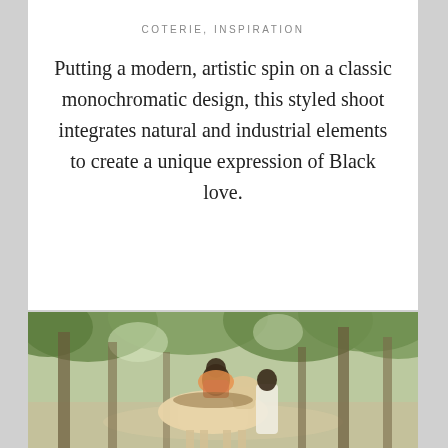COTERIE, INSPIRATION
Putting a modern, artistic spin on a classic monochromatic design, this styled shoot integrates natural and industrial elements to create a unique expression of Black love.
[Figure (photo): Two Black individuals in a wooded outdoor setting with a light-colored horse. One person sits atop the horse wearing colorful attire, while the other stands beside wearing white. Trees with green foliage fill the background.]